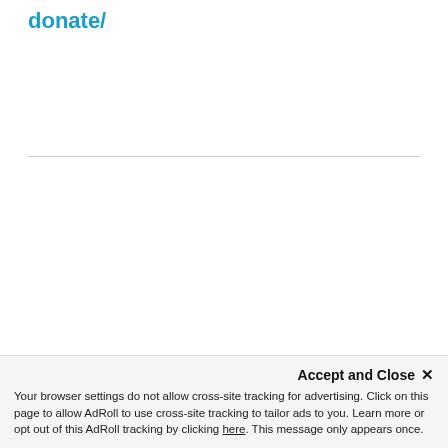donate/
[Figure (other): The Wildest advertisement banner with light blue background. Shows logo 'The Wildest', tagline 'How pet parents keep their cool.' and a dark brown 'SIGN UP' button.]
Adopt-a-Pet.com is the easiest way for you to search for a new pet in Sanger, CA.
Accept and Close ✕
Your browser settings do not allow cross-site tracking for advertising. Click on this page to allow AdRoll to use cross-site tracking to tailor ads to you. Learn more or opt out of this AdRoll tracking by clicking here. This message only appears once.